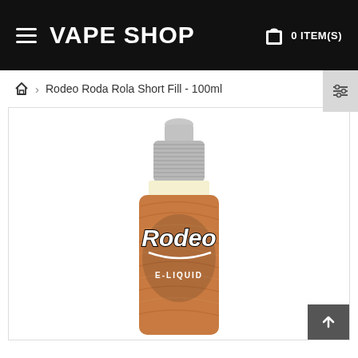VAPE SHOP  0 ITEM(S)
Rodeo Roda Rola Short Fill - 100ml
[Figure (photo): Product photo of Rodeo E-Liquid bottle (100ml short fill), brown/tan woodgrain label with 'Rodeo E-LIQUID' branding, silver child-proof cap, white background]